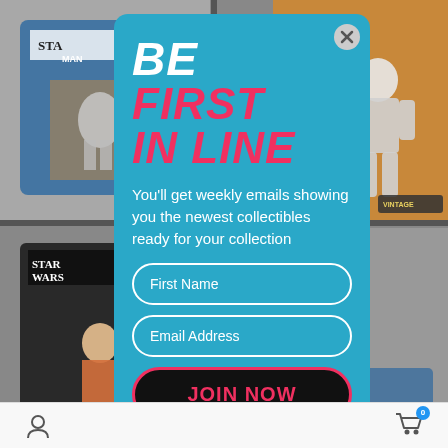[Figure (screenshot): Background showing Star Wars collectible product grid with action figures in packaging, grayed out behind modal overlay]
BE FIRST IN LINE
You'll get weekly emails showing you the newest collectibles ready for your collection
First Name
Email Address
JOIN NOW